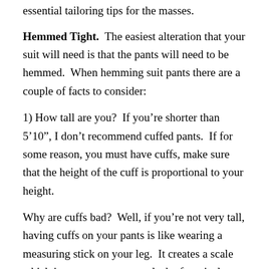essential tailoring tips for the masses.
Hemmed Tight.  The easiest alteration that your suit will need is that the pants will need to be hemmed.  When hemming suit pants there are a couple of facts to consider:
1) How tall are you?  If you're shorter than 5'10", I don't recommend cuffed pants.  If for some reason, you must have cuffs, make sure that the height of the cuff is proportional to your height.
Why are cuffs bad?  Well, if you're not very tall, having cuffs on your pants is like wearing a measuring stick on your leg.  It creates a scale which just accentuates your lack of vertical appeal.
2) As a general rule, the front of your trousers should touch the upper part of your shoe and the back of your